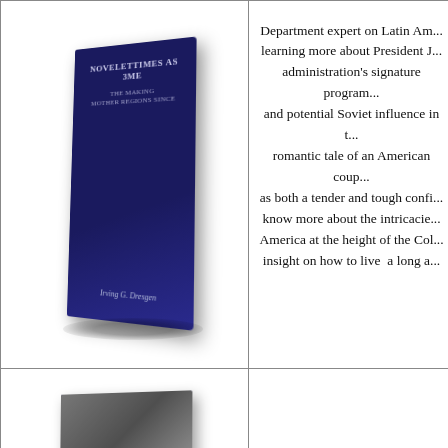[Figure (illustration): A dark navy book standing upright with perspective, showing title text and author name on the cover/spine.]
Department expert on Latin Am... learning more about President J... administration's signature program... and potential Soviet influence in t... romantic tale of an American coup... as both a tender and tough confi... know more about the intricacie... America at the height of the Col... insight on how to live  a long a...
[Figure (illustration): A second book with a grayscale photographic image on the upper portion and an orange/yellow bar at the bottom with text.]